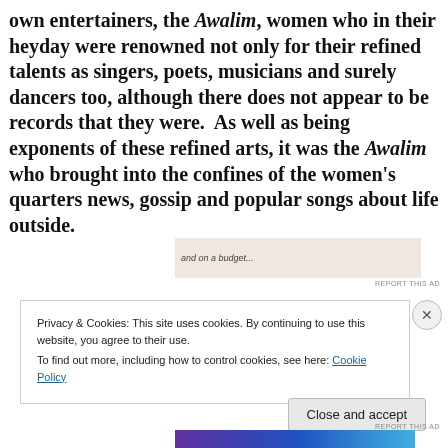own entertainers, the Awalim, women who in their heyday were renowned not only for their refined talents as singers, poets, musicians and surely dancers too, although there does not appear to be records that they were.  As well as being exponents of these refined arts, it was the Awalim who brought into the confines of the women's quarters news, gossip and popular songs about life outside.
[Figure (other): Advertisement banner with beige/tan background showing partial text 'and on a budget...' with REPORT THIS AD label]
Privacy & Cookies: This site uses cookies. By continuing to use this website, you agree to their use.
To find out more, including how to control cookies, see here: Cookie Policy
[Figure (other): Close and accept button for cookie consent dialog]
[Figure (other): Bottom advertisement strip with purple-blue gradient colors]